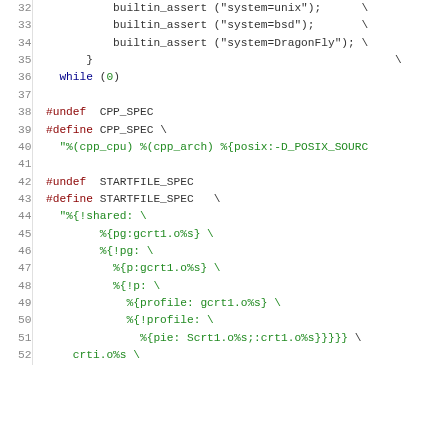Code listing lines 32-52 showing C preprocessor macros for builtin_assert system checks, CPP_SPEC definition, and STARTFILE_SPEC definition with nested conditional specifiers for shared libraries, pg, p, profile, and pie options.